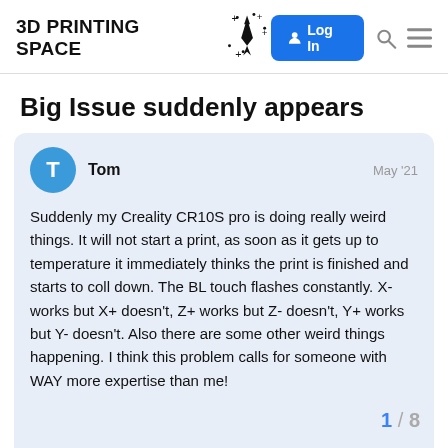3D PRINTING SPACE — Log In
Big Issue suddenly appears
Tom   May '21

Suddenly my Creality CR10S pro is doing really weird things. It will not start a print, as soon as it gets up to temperature it immediately thinks the print is finished and starts to coll down. The BL touch flashes constantly. X- works but X+ doesn't, Z+ works but Z- doesn't, Y+ works but Y- doesn't. Also there are some other weird things happening. I think this problem calls for someone with WAY more expertise than me!
1 / 8